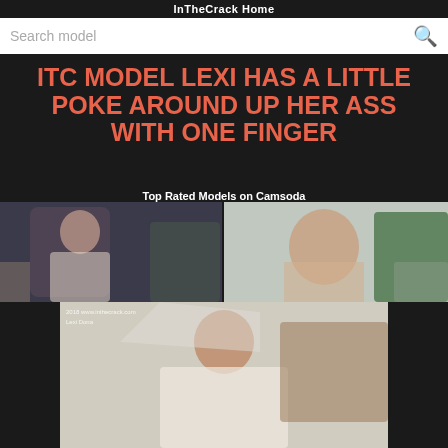InTheCrack Home
Search model
ITC MODEL LEXI HAS A LITTLE POKE AROUND UP HER ASS WITH ONE FINGER
Top Rated Models on Camsoda
[Figure (photo): Webcam screenshot of a young woman with long dark hair in a white top]
[Figure (photo): Webcam screenshot of an Asian woman looking at camera with plants in background]
[Figure (photo): Photo of a young brunette woman in white lingerie posing near a framed painting]